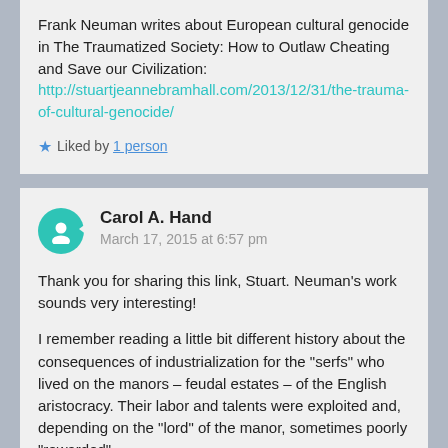Frank Neuman writes about European cultural genocide in The Traumatized Society: How to Outlaw Cheating and Save our Civilization: http://stuartjeannebramhall.com/2013/12/31/the-trauma-of-cultural-genocide/
Liked by 1 person
Carol A. Hand
March 17, 2015 at 6:57 pm
Thank you for sharing this link, Stuart. Neuman's work sounds very interesting!
I remember reading a little bit different history about the consequences of industrialization for the "serfs" who lived on the manors – feudal estates – of the English aristocracy. Their labor and talents were exploited and, depending on the "lord" of the manor, sometimes poorly "rewarded"